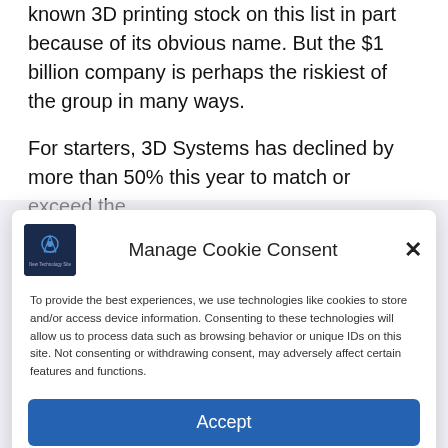known 3D printing stock on this list in part because of its obvious name. But the $1 billion company is perhaps the riskiest of the group in many ways.
For starters, 3D Systems has declined by more than 50% this year to match or exceed the
[Figure (screenshot): Cookie consent modal dialog with logo, title 'Manage Cookie Consent', close button, descriptive text about cookies, and an Accept button.]